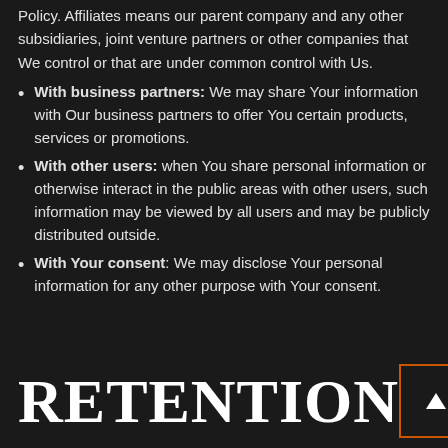Policy. Affiliates means our parent company and any other subsidiaries, joint venture partners or other companies that We control or that are under common control with Us.
With business partners: We may share Your information with Our business partners to offer You certain products, services or promotions.
With other users: when You share personal information or otherwise interact in the public areas with other users, such information may be viewed by all users and may be publicly distributed outside.
With Your consent: We may disclose Your personal information for any other purpose with Your consent.
RETENTION